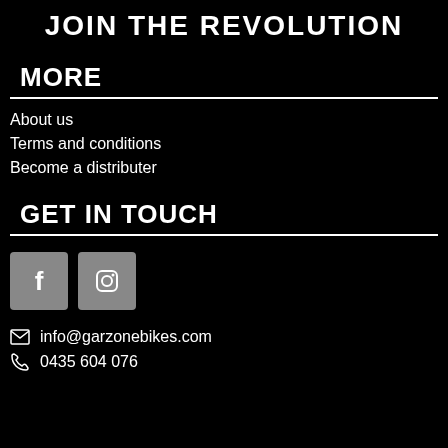JOIN THE REVOLUTION
MORE
About us
Terms and conditions
Become a distributer
GET IN TOUCH
[Figure (logo): Facebook and Instagram social media icons in grey square buttons]
info@garzonebikes.com
0435 604 076